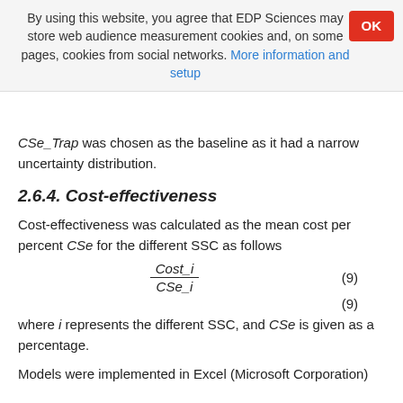By using this website, you agree that EDP Sciences may store web audience measurement cookies and, on some pages, cookies from social networks. More information and setup
CSe_Trap was chosen as the baseline as it had a narrow uncertainty distribution.
2.6.4. Cost-effectiveness
Cost-effectiveness was calculated as the mean cost per percent CSe for the different SSC as follows
(9)
where i represents the different SSC, and CSe is given as a percentage.
Models were implemented in Excel (Microsoft Corporation)